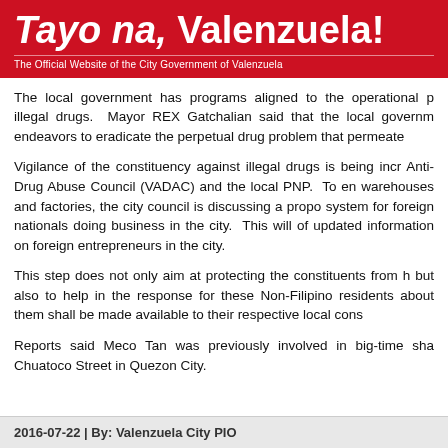Tayo na, Valenzuela! — The Official Website of the City Government of Valenzuela
The local government has programs aligned to the operational p... illegal drugs. Mayor REX Gatchalian said that the local governm... endeavors to eradicate the perpetual drug problem that permeate...
Vigilance of the constituency against illegal drugs is being incr... Anti-Drug Abuse Council (VADAC) and the local PNP. To en... warehouses and factories, the city council is discussing a propo... system for foreign nationals doing business in the city. This will... of updated information on foreign entrepreneurs in the city.
This step does not only aim at protecting the constituents from h... but also to help in the response for these Non-Filipino residents... about them shall be made available to their respective local cons...
Reports said Meco Tan was previously involved in big-time sha... Chuatoco Street in Quezon City.
2016-07-22 | By: Valenzuela City PIO